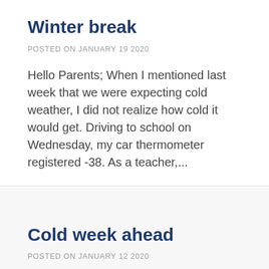Winter break
POSTED ON JANUARY 19 2020
Hello Parents; When I mentioned last week that we were expecting cold weather, I did not realize how cold it would get. Driving to school on Wednesday, my car thermometer registered -38. As a teacher,...
Cold week ahead
POSTED ON JANUARY 12 2020